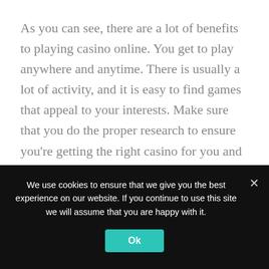As you can see, there are a lot of benefits to playing casino online. You get to play anywhere and anytime. There is usually a lot of activity, and it is easy to find games that appeal to your interests. Make sure that you do the proper research to ensure you're getting the right casino for you and your gaming experience.
You also don't have to worry about waiting for the game to load in order to start your game. This is true for most real casino. Online, if a game loads, it will
We use cookies to ensure that we give you the best experience on our website. If you continue to use this site we will assume that you are happy with it.